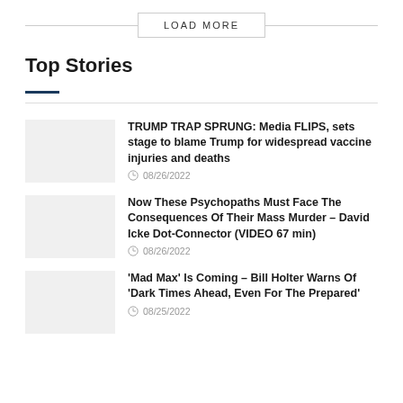LOAD MORE
Top Stories
TRUMP TRAP SPRUNG: Media FLIPS, sets stage to blame Trump for widespread vaccine injuries and deaths
08/26/2022
Now These Psychopaths Must Face The Consequences Of Their Mass Murder – David Icke Dot-Connector (VIDEO 67 min)
08/26/2022
'Mad Max' Is Coming – Bill Holter Warns Of 'Dark Times Ahead, Even For The Prepared'
08/25/2022